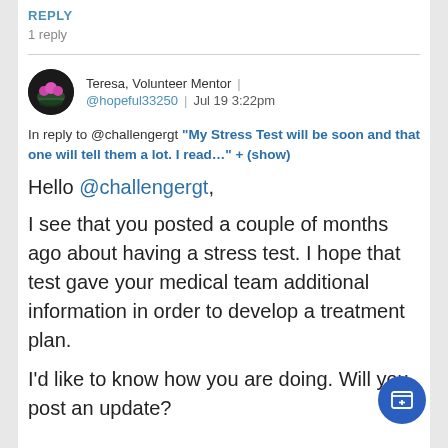REPLY
1 reply
Teresa, Volunteer Mentor | @hopeful33250 | Jul 19 3:22pm
In reply to @challengergt "My Stress Test will be soon and that one will tell them a lot. I read..." + (show)
Hello @challengergt,
I see that you posted a couple of months ago about having a stress test. I hope that test gave your medical team additional information in order to develop a treatment plan.
I'd like to know how you are doing. Will you post an update?